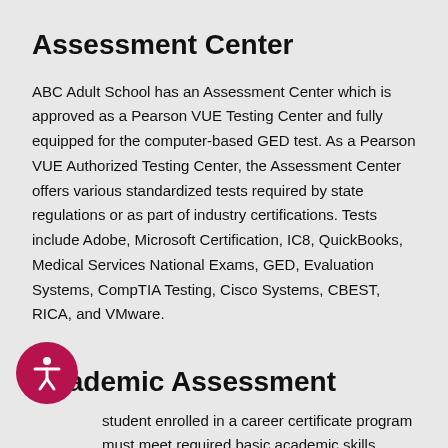Assessment Center
ABC Adult School has an Assessment Center which is approved as a Pearson VUE Testing Center and fully equipped for the computer-based GED test. As a Pearson VUE Authorized Testing Center, the Assessment Center offers various standardized tests required by state regulations or as part of industry certifications. Tests include Adobe, Microsoft Certification, IC8, QuickBooks, Medical Services National Exams, GED, Evaluation Systems, CompTIA Testing, Cisco Systems, CBEST, RICA, and VMware.
Academic Assessment
student enrolled in a career certificate program must meet required basic academic skills levels in mathematics